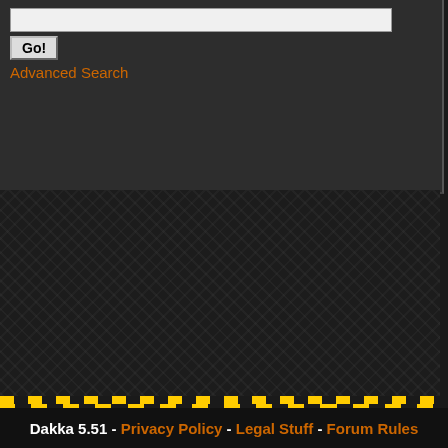specific company. You must be logged in to post comments.
Reddit: Shar
Image D
Resolutio
Uploaded
Exposure
F-numbe
File Sour
Flash:
Focal Le
Light Sou
Taken W
Software
Taken At:
Taken Or
Advanced Search
Dakka 5.51 - Privacy Policy - Legal Stuff - Forum Rules